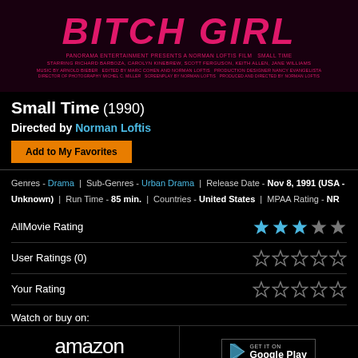[Figure (photo): Movie poster for 'Small Time' (1990) with pink/magenta title text on dark background, credits in pink text]
Small Time (1990)
Directed by Norman Loftis
Add to My Favorites
Genres - Drama | Sub-Genres - Urban Drama | Release Date - Nov 8, 1991 (USA - Unknown) | Run Time - 85 min. | Countries - United States | MPAA Rating - NR
AllMovie Rating
User Ratings (0)
Your Rating
Watch or buy on:
[Figure (logo): Amazon logo]
[Figure (logo): Google Play badge]
Watch CODA